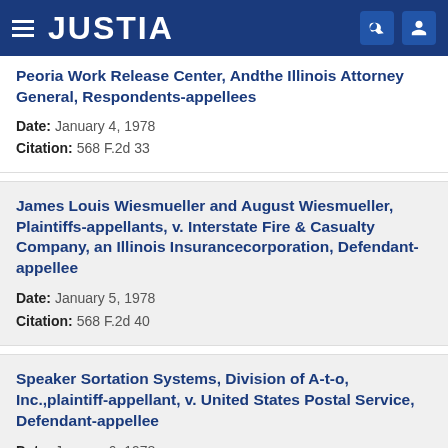JUSTIA
Peoria Work Release Center, Andthe Illinois Attorney General, Respondents-appellees
Date: January 4, 1978
Citation: 568 F.2d 33
James Louis Wiesmueller and August Wiesmueller, Plaintiffs-appellants, v. Interstate Fire & Casualty Company, an Illinois Insurancecorporation, Defendant-appellee
Date: January 5, 1978
Citation: 568 F.2d 40
Speaker Sortation Systems, Division of A-t-o, Inc.,plaintiff-appellant, v. United States Postal Service, Defendant-appellee
Date: January 6, 1978